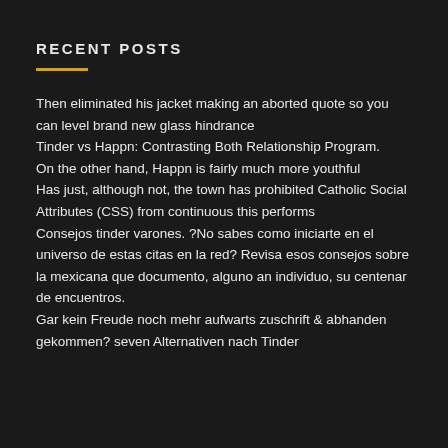RECENT POSTS
Then eliminated his jacket making an aborted quote so you can level brand new glass hindrance
Tinder vs Happn: Contrasting Both Relationship Program.
On the other hand, Happn is fairly much more youthful
Has just, although not, the town has prohibited Catholic Social Attributes (CSS) from continuous this performs
Consejos tinder varones. ?No sabes como iniciarte en el universo de estas citas en la red? Revisa esos consejos sobre la mexicana que documento, alguno an individuo, su centenar de encuentros.
Gar kein Freude noch mehr aufwarts zuschrift & abhanden gekommen? seven Alternativen nach Tinder